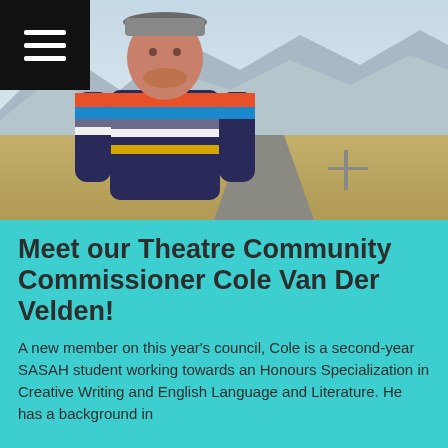[Figure (photo): A young man wearing a colorful striped sweater and a grey flat cap, smiling, standing outdoors against a backdrop of mountains, flatlands, and a road. A hamburger menu icon appears in the top-left corner of the image in a black square.]
Meet our Theatre Community Commissioner Cole Van Der Velden!
A new member on this year's council, Cole is a second-year SASAH student working towards an Honours Specialization in Creative Writing and English Language and Literature. He has a background in